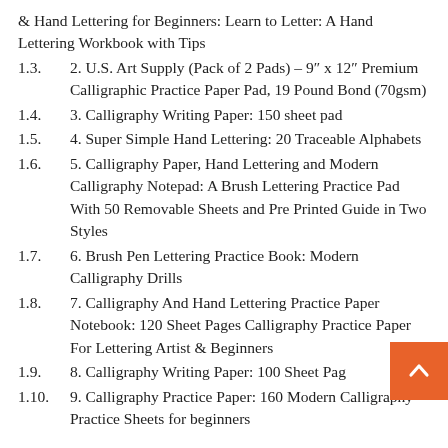& Hand Lettering for Beginners: Learn to Letter: A Hand Lettering Workbook with Tips
1.3. 2. U.S. Art Supply (Pack of 2 Pads) – 9″ x 12″ Premium Calligraphic Practice Paper Pad, 19 Pound Bond (70gsm)
1.4. 3. Calligraphy Writing Paper: 150 sheet pad
1.5. 4. Super Simple Hand Lettering: 20 Traceable Alphabets
1.6. 5. Calligraphy Paper, Hand Lettering and Modern Calligraphy Notepad: A Brush Lettering Practice Pad With 50 Removable Sheets and Pre Printed Guide in Two Styles
1.7. 6. Brush Pen Lettering Practice Book: Modern Calligraphy Drills
1.8. 7. Calligraphy And Hand Lettering Practice Paper Notebook: 120 Sheet Pages Calligraphy Practice Paper For Lettering Artist & Beginners
1.9. 8. Calligraphy Writing Paper: 100 Sheet Pag…
1.10. 9. Calligraphy Practice Paper: 160 Modern Calligraphy Practice Sheets for beginners